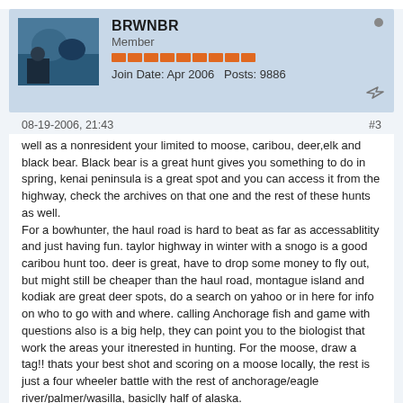BRWNBR | Member | Join Date: Apr 2006 | Posts: 9886
08-19-2006, 21:43   #3
well as a nonresident your limited to moose, caribou, deer,elk and black bear. Black bear is a great hunt gives you something to do in spring, kenai peninsula is a great spot and you can access it from the highway, check the archives on that one and the rest of these hunts as well.
For a bowhunter, the haul road is hard to beat as far as accessablitity and just having fun. taylor highway in winter with a snogo is a good caribou hunt too. deer is great, have to drop some money to fly out, but might still be cheaper than the haul road, montague island and kodiak are great deer spots, do a search on yahoo or in here for info on who to go with and where. calling Anchorage fish and game with questions also is a big help, they can point you to the biologist that work the areas your itnerested in hunting. For the moose, draw a tag!! thats your best shot and scoring on a moose locally, the rest is just a four wheeler battle with the rest of anchorage/eagle river/palmer/wasilla, basiclly half of alaska.
Good luck, get some specifics on what you want and ask some questions in here, most guys here have been there and are willing to help, just don't ask about sheep spots or trout spots...lol